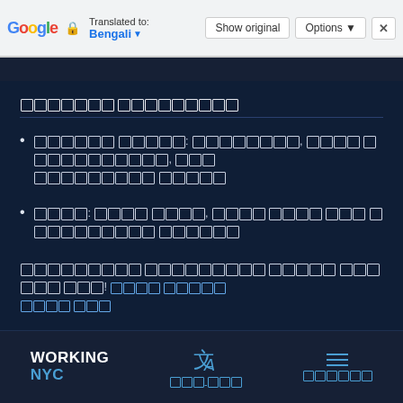[Figure (screenshot): Google Translate bar showing 'Translated to: Bengali' with 'Show original' and 'Options' buttons and a close button]
[Bengali text rendered as tofu boxes] (section header)
[Bengali text rendered as tofu boxes] (bullet point 1)
[Bengali text rendered as tofu boxes] (bullet point 2)
[Bengali text rendered as tofu boxes with link]
[Figure (logo): Working NYC logo with translate icon and menu icon in footer]